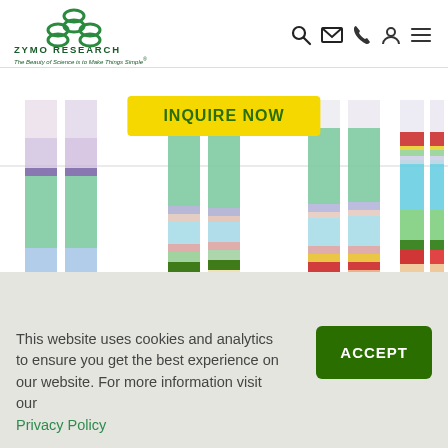[Figure (logo): Zymo Research logo with three circular shapes forming a trefoil, company name and tagline 'The Beauty of Science is to Make Things Simple']
[Figure (infographic): Stacked bar chart showing microbiome composition data across multiple samples, with colored segments representing different taxa. An 'INQUIRE NOW' yellow button overlays the chart.]
This website uses cookies and analytics to ensure you get the best experience on our website. For more information visit our Privacy Policy